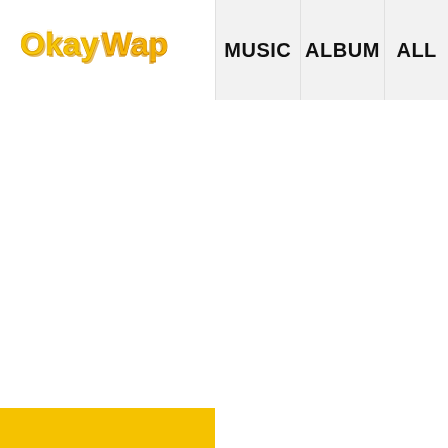[Figure (logo): OkayWap logo in yellow/gold script text]
MUSIC   ALBUM   ALL